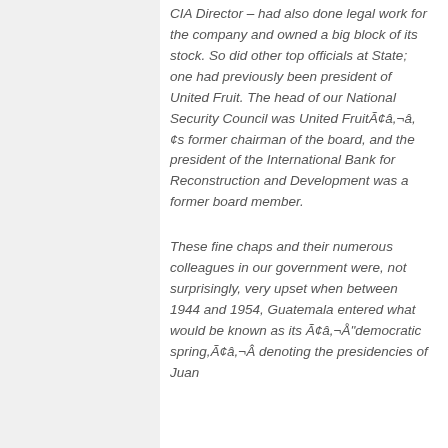CIA Director – had also done legal work for the company and owned a big block of its stock. So did other top officials at State; one had previously been president of United Fruit. The head of our National Security Council was United FruitÃ¢â,¬â,¢s former chairman of the board, and the president of the International Bank for Reconstruction and Development was a former board member.
These fine chaps and their numerous colleagues in our government were, not surprisingly, very upset when between 1944 and 1954, Guatemala entered what would be known as its Ã¢â,¬Å"democratic spring,Ã¢â,¬Â denoting the presidencies of Juan